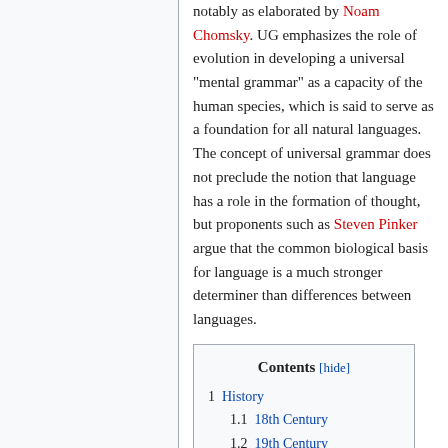notably as elaborated by Noam Chomsky. UG emphasizes the role of evolution in developing a universal "mental grammar" as a capacity of the human species, which is said to serve as a foundation for all natural languages. The concept of universal grammar does not preclude the notion that language has a role in the formation of thought, but proponents such as Steven Pinker argue that the common biological basis for language is a much stronger determiner than differences between languages.
| Contents |
| --- |
| 1  History |
| 1.1  18th Century |
| 1.2  19th Century |
| 1.3  20th Century |